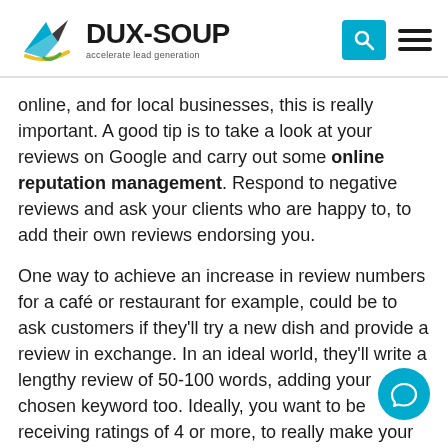DUX-SOUP accelerate lead generation
online, and for local businesses, this is really important. A good tip is to take a look at your reviews on Google and carry out some online reputation management. Respond to negative reviews and ask your clients who are happy to, to add their own reviews endorsing you.
One way to achieve an increase in review numbers for a café or restaurant for example, could be to ask customers if they’ll try a new dish and provide a review in exchange. In an ideal world, they’ll write a lengthy review of 50-100 words, adding your chosen keyword too. Ideally, you want to be receiving ratings of 4 or more, to really make your mark.